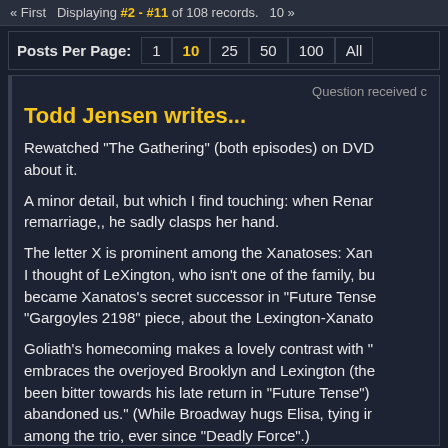« First  Displaying #2 - #11 of 108 records.  10 »
Posts Per Page:  1  10  25  50  100  All
Question received c
Todd Jensen writes...
Rewatched "The Gathering" (both episodes) on DVD about it.
A minor detail, but which I find touching: when Renar remarriage,, he sadly clasps her hand.
The letter X is prominent among the Xanatoses: Xan I thought of LeXington, who isn't one of the family, bu became Xanatos's secret successor in "Future Tense "Gargoyles 2198" piece, about the Lexington-Xanato
Goliath's homecoming makes a lovely contrast with " embraces the overjoyed Brooklyn and Lexington (the been bitter towards his late return in "Future Tense") abandoned us." (While Broadway hugs Elisa, tying ir among the trio, ever since "Deadly Force".)